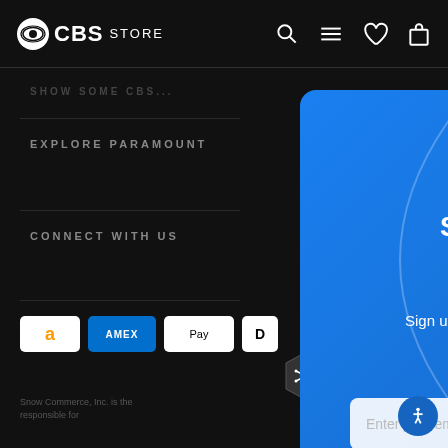CBS STORE
EXPLORE PARAMOUNT
CONNECT WITH US
[Figure (screenshot): Payment method icons: Amazon Pay, American Express, Apple Pay, and a partially visible payment icon]
©
[Figure (logo): Snow Commerce hexagon badge logo]
Snow Commerce, Inc. is the
responsible for
Sign Up & Save
Sign up for our newsletter and 15% on your next order
Enter your email
SUBS